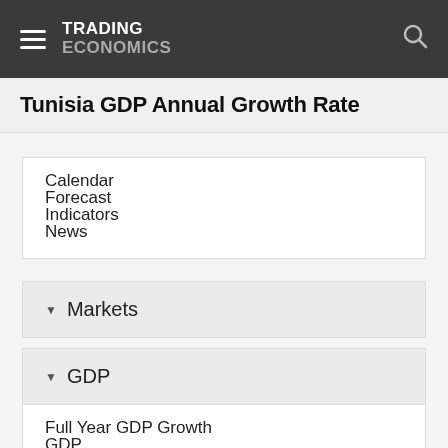TRADING ECONOMICS
Tunisia GDP Annual Growth Rate
Calendar
Forecast
Indicators
News
Markets
GDP
Full Year GDP Growth
GDP
GDP Annual Growth Rate
GDP Constant Prices
GDP From Agriculture
GDP From Construction